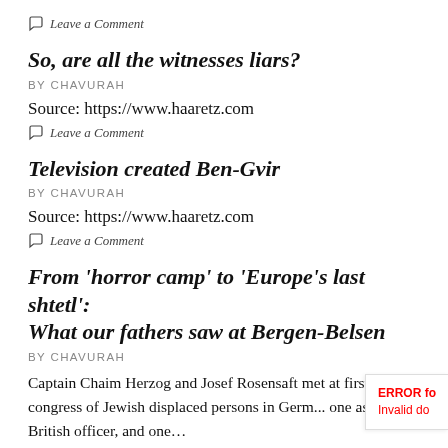Leave a Comment
So, are all the witnesses liars?
BY CHAVURAH
Source: https://www.haaretz.com
Leave a Comment
Television created Ben-Gvir
BY CHAVURAH
Source: https://www.haaretz.com
Leave a Comment
From 'horror camp' to 'Europe's last shtetl': What our fathers saw at Bergen-Belsen
BY CHAVURAH
Captain Chaim Herzog and Josef Rosensaft met at first congress of Jewish displaced persons in Germ... one as a British officer, and one...